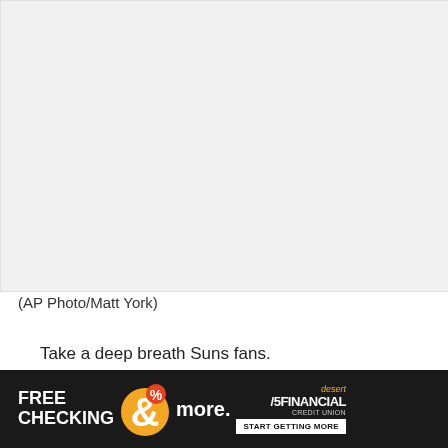[Figure (photo): Blank/white photo area placeholder for an AP photo]
(AP Photo/Matt York)
Take a deep breath Suns fans.
The second half of the season starts tonight in Oklahoma City for the 48-10 Phoenix Suns. The best 58-game start in franchise history is the good news. The play of Devin Book is anoth
[Figure (other): Desert Financial advertisement banner — FREE CHECKING & more. START GETTING MORE]